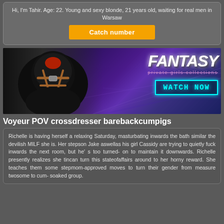Hi, I'm Tahir. Age: 22. Young and sexy blonde, 21 years old, waiting for real men in Warsaw
Catch number
[Figure (illustration): Fantasy private girls collections banner with latex-clad figure on left and FANTASY logo with WATCH NOW button on right]
Voyeur POV crossdresser barebackcumpigs
Richelle is having herself a relaxing Saturday, masturbating inwards the bath similar the devilish MILF she is. Her stepson Jake aswellas his girl Cassidy are trying to quietly fuck inwards the next room, but he' s too turned- on to maintain it downwards. Richelle presently realizes she tincan turn this stateofaffairs around to her horny reward. She teaches them some stepmom-approved moves to turn their gender from measure twosome to cum- soaked group.